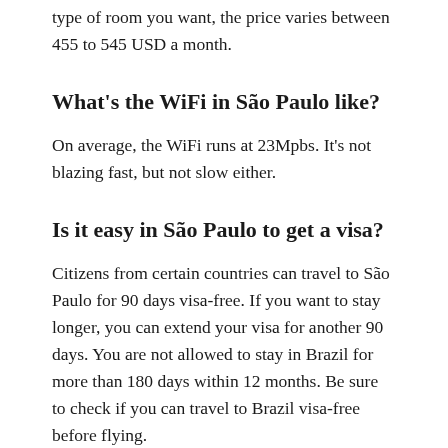type of room you want, the price varies between 455 to 545 USD a month.
What's the WiFi in São Paulo like?
On average, the WiFi runs at 23Mpbs. It's not blazing fast, but not slow either.
Is it easy in São Paulo to get a visa?
Citizens from certain countries can travel to São Paulo for 90 days visa-free. If you want to stay longer, you can extend your visa for another 90 days. You are not allowed to stay in Brazil for more than 180 days within 12 months. Be sure to check if you can travel to Brazil visa-free before flying.